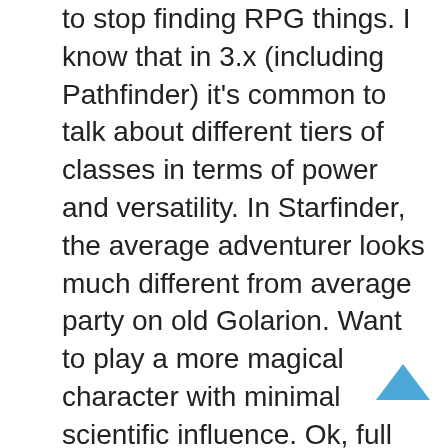to stop finding RPG things. I know that in 3.x (including Pathfinder) it's common to talk about different tiers of classes in terms of power and versatility. In Starfinder, the average adventurer looks much different from average party on old Golarion. Want to play a more magical character with minimal scientific influence. Ok, full disclosure: I'm new to Starfinder. Because of their affinity with computers and technology, most data jockeys are envoys, mechanics, operatives, or technomancers, but members of virtually any class can become successful data jockeys. If the Solarian is a master of melee combat, the Soldier is a master of combat, period. Ok, full disclosure: I'm new to Starfinder. The Starfinder iconic Solarian is the kasatha (four-armed desert dweller) Altronus. One main feature that has been revealed is expertise, which grants the Envoy an extra 1d6 to a growing list of skills over time. Blame Saix for this XD. They have access to a spell cache, which starts out as a way to bypass the need for a spell slot,
[Figure (other): A blue upward-pointing chevron/arrow button (scroll-to-top button) in the bottom right of the page]